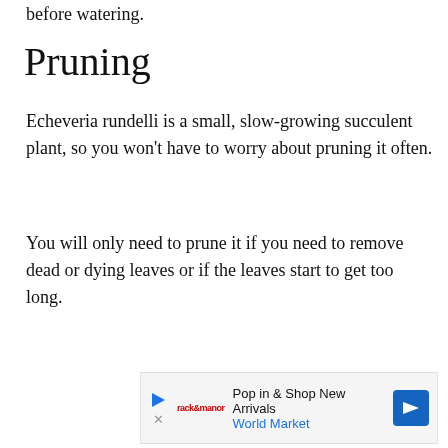before watering.
Pruning
Echeveria rundelli is a small, slow-growing succulent plant, so you won't have to worry about pruning it often.
You will only need to prune it if you need to remove dead or dying leaves or if the leaves start to get too long.
[Figure (other): Advertisement banner for World Market: 'Pop in & Shop New Arrivals' with a blue navigation arrow icon on the right.]